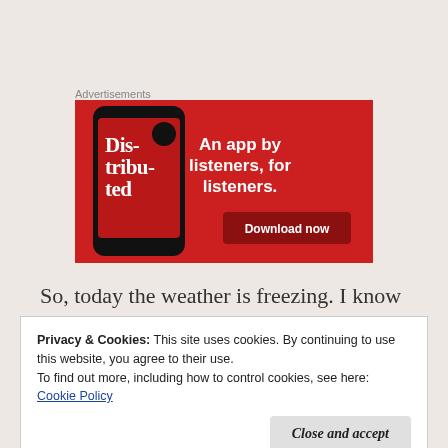Advertisements
[Figure (screenshot): Advertisement banner for a podcast app. Red background with a smartphone showing a podcast called 'Distributed'. Text reads 'An app by listeners, for listeners.' with a 'Download now' button.]
So, today the weather is freezing. I know this
Privacy & Cookies: This site uses cookies. By continuing to use this website, you agree to their use.
To find out more, including how to control cookies, see here: Cookie Policy
Close and accept
right by the Warden's side. She thinks she trained